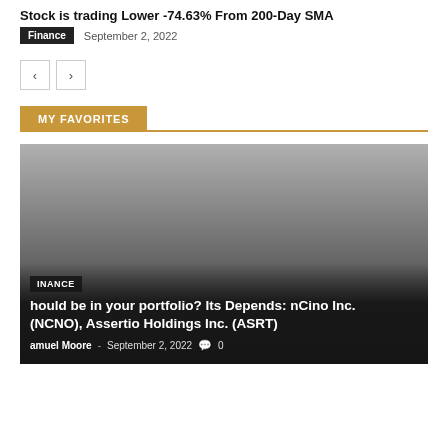Stock is trading Lower -74.63% From 200-Day SMA
Finance   September 2, 2022
[Figure (screenshot): Navigation arrows: left and right pagination buttons]
MY FAVORITES
[Figure (photo): Dark gradient background card image with Finance category tag and article title overlay]
hould be in your portfolio? Its Depends: nCino Inc. (NCNO), Assertio Holdings Inc. (ASRT)
amuel Moore - September 2, 2022  0